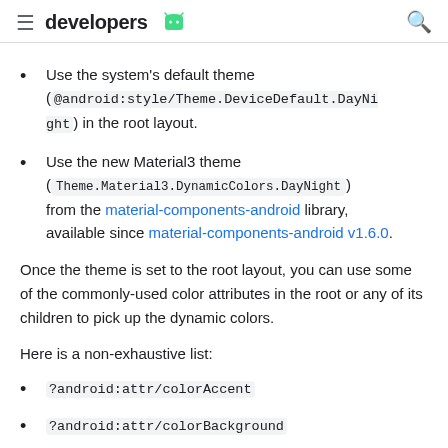developers [android logo]
Use the system's default theme ( @android:style/Theme.DeviceDefault.DayNight ) in the root layout.
Use the new Material3 theme ( Theme.Material3.DynamicColors.DayNight ) from the material-components-android library, available since material-components-android v1.6.0.
Once the theme is set to the root layout, you can use some of the commonly-used color attributes in the root or any of its children to pick up the dynamic colors.
Here is a non-exhaustive list:
?android:attr/colorAccent
?android:attr/colorBackground